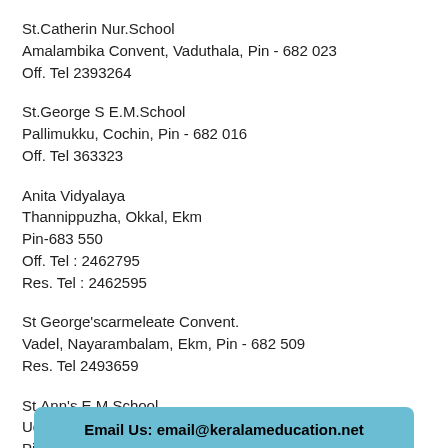St.Catherin Nur.School
Amalambika Convent, Vaduthala, Pin - 682 023
Off. Tel 2393264
St.George S E.M.School
Pallimukku, Cochin, Pin - 682 016
Off. Tel 363323
Anita Vidyalaya
Thannippuzha, Okkal, Ekm
Pin-683 550
Off. Tel : 2462795
Res. Tel : 2462595
St George'scarmeleate Convent.
Vadel, Nayarambalam, Ekm, Pin - 682 509
Res. Tel 2493659
St.Ann's E.M.School
Udyogamandal, Eloor, Ekm
Pin-68...
Off. T...
Email Us: email@keralameducation.net